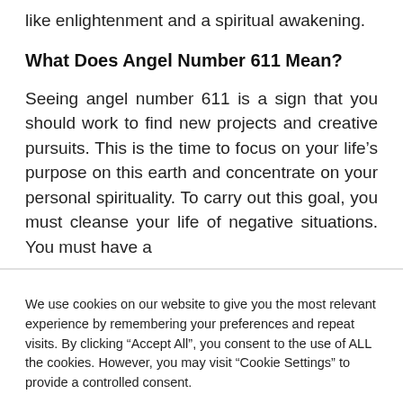like enlightenment and a spiritual awakening.
What Does Angel Number 611 Mean?
Seeing angel number 611 is a sign that you should work to find new projects and creative pursuits. This is the time to focus on your life’s purpose on this earth and concentrate on your personal spirituality. To carry out this goal, you must cleanse your life of negative situations. You must have a
We use cookies on our website to give you the most relevant experience by remembering your preferences and repeat visits. By clicking “Accept All”, you consent to the use of ALL the cookies. However, you may visit “Cookie Settings” to provide a controlled consent.
Cookie Settings    Accept All